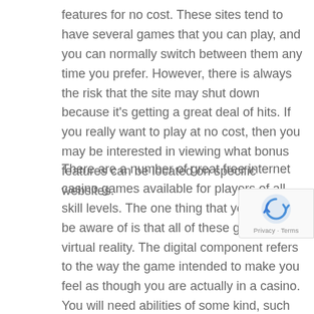features for no cost. These sites tend to have several games that you can play, and you can normally switch between them any time you prefer. However, there is always the risk that the site may shut down because it's getting a great deal of hits. If you really want to play at no cost, then you may be interested in viewing what bonus features can be located on specific websites.
There are a number of great free internet casino games available for players of all skill levels. The one thing that you should be aware of is that all of these games are virtual reality. The digital component refers to the way the game intended to make you feel as though you are actually in a casino. You will need abilities of some kind, such as being quite cautious with your bankroll, and you will need to be patient if you're likely to be successful. However, if you play your cards right, then you will have a lot of pleasure, and you may even make some money on the way!
[Figure (other): reCAPTCHA badge with circular arrow icon and Privacy · Terms text]